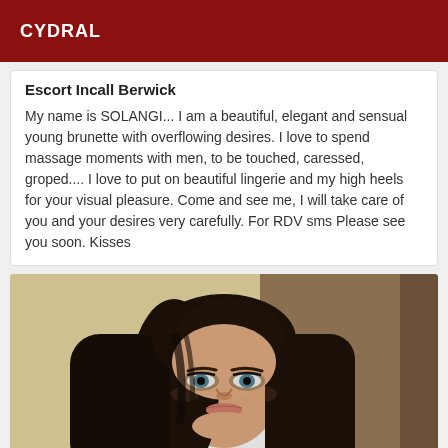CYDRAL
Escort Incall Berwick
My name is SOLANGI... I am a beautiful, elegant and sensual young brunette with overflowing desires. I love to spend massage moments with men, to be touched, caressed, groped.... I love to put on beautiful lingerie and my high heels for your visual pleasure. Come and see me, I will take care of you and your desires very carefully. For RDV sms Please see you soon. Kisses
[Figure (photo): Portrait photo of a young brunette woman with long dark hair and blue eyes, looking at camera, wearing a white top, indoor background.]